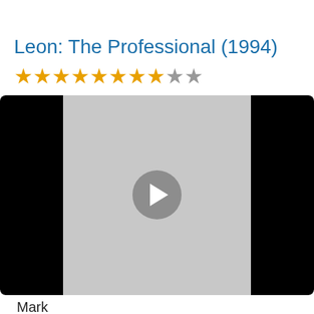Leon: The Professional (1994)
[Figure (other): Star rating: 8 out of 10 stars (8 gold stars, 2 gray stars)]
[Figure (screenshot): Video player thumbnail with gray background, black letterbox bars on left and right sides, and a circular play button in the center]
Mark